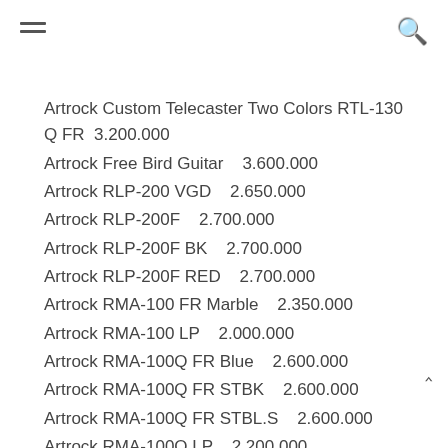≡  🔍
Artrock Custom Telecaster Two Colors RTL-130 Q FR  3.200.000
Artrock Free Bird Guitar    3.600.000
Artrock RLP-200 VGD    2.650.000
Artrock RLP-200F    2.700.000
Artrock RLP-200F BK    2.700.000
Artrock RLP-200F RED    2.700.000
Artrock RMA-100 FR Marble    2.350.000
Artrock RMA-100 LP    2.000.000
Artrock RMA-100Q FR Blue    2.600.000
Artrock RMA-100Q FR STBK    2.600.000
Artrock RMA-100Q FR STBL.S    2.600.000
Artrock RMA-100Q LP    2.200.000
Artrock RMA-300 FR    3.400.000
Artrock RMA-300Q FR BK    3.700.000